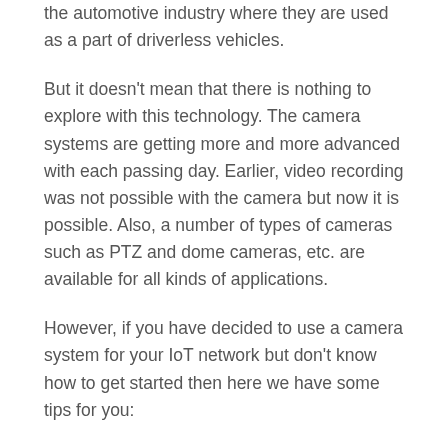the automotive industry where they are used as a part of driverless vehicles.
But it doesn't mean that there is nothing to explore with this technology. The camera systems are getting more and more advanced with each passing day. Earlier, video recording was not possible with the camera but now it is possible. Also, a number of types of cameras such as PTZ and dome cameras, etc. are available for all kinds of applications.
However, if you have decided to use a camera system for your IoT network but don't know how to get started then here we have some tips for you:
1)Do Your Homework about Companies Offering Camera Systems:
This is probably the most important tip that can help you get the best solution for your application. If you want to get the best